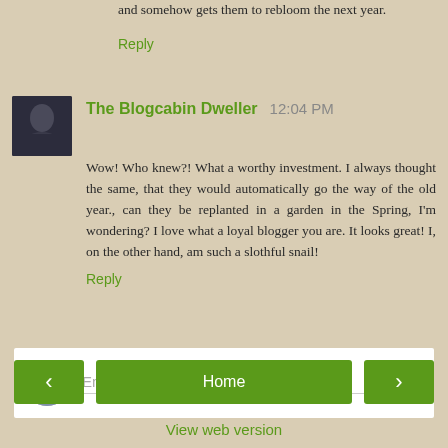and somehow gets them to rebloom the next year.
Reply
The Blogcabin Dweller  12:04 PM
Wow! Who knew?! What a worthy investment. I always thought the same, that they would automatically go the way of the old year., can they be replanted in a garden in the Spring, I'm wondering? I love what a loyal blogger you are. It looks great! I, on the other hand, am such a slothful snail!
Reply
Enter Comment
Home
View web version